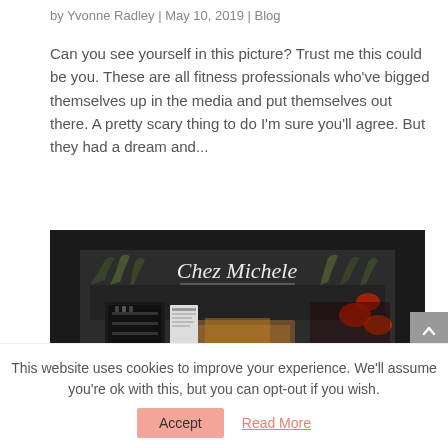by Yvonne Radley | May 10, 2019 | Blog
Can you see yourself in this picture? Trust me this could be you. These are all fitness professionals who've bigged themselves up in the media and put themselves out there. A pretty scary thing to do I'm sure you'll agree. But they had a dream and...
[Figure (photo): Exterior photo of Chez Michele restaurant at night, with signage visible and plants/greenery around the entrance]
This website uses cookies to improve your experience. We'll assume you're ok with this, but you can opt-out if you wish.
Accept    Read More